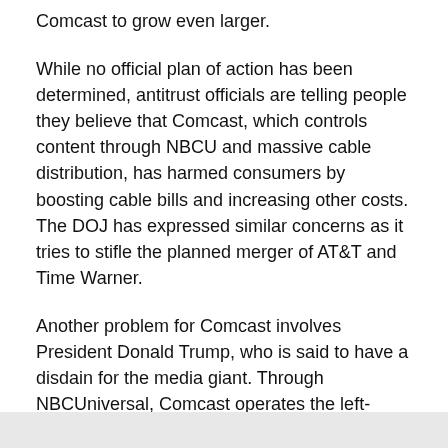Comcast to grow even larger.
While no official plan of action has been determined, antitrust officials are telling people they believe that Comcast, which controls content through NBCU and massive cable distribution, has harmed consumers by boosting cable bills and increasing other costs. The DOJ has expressed similar concerns as it tries to stifle the planned merger of AT&T and Time Warner.
Another problem for Comcast involves President Donald Trump, who is said to have a disdain for the media giant. Through NBCUniversal, Comcast operates the left-leaning cable network MSNBC, whose hosts attack Trump's political agenda and deliver almost nonstop coverage of Special Counsel Robert Mueller's investigation of possible collusion between the Trump presidential campaign and Russian nationals.